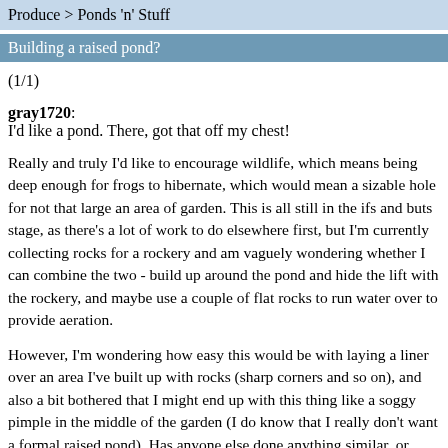Produce > Ponds 'n' Stuff
Building a raised pond?
(1/1)
gray1720:
I'd like a pond. There, got that off my chest!
Really and truly I'd like to encourage wildlife, which means being deep enough for frogs to hibernate, which would mean a sizable hole for not that large an area of garden. This is all still in the ifs and buts stage, as there's a lot of work to do elsewhere first, but I'm currently collecting rocks for a rockery and am vaguely wondering whether I can combine the two - build up around the pond and hide the lift with the rockery, and maybe use a couple of flat rocks to run water over to provide aeration.
However, I'm wondering how easy this would be with laying a liner over an area I've built up with rocks (sharp corners and so on), and also a bit bothered that I might end up with this thing like a soggy pimple in the middle of the garden (I do know that I really don't want a formal raised pond). Has anyone else done anything similar, or knows of anywhere where I might see something similar to give me some ideas?